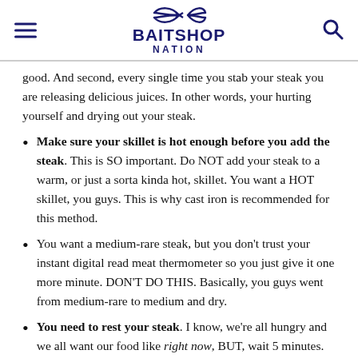BAITSHOP NATION
good. And second, every single time you stab your steak you are releasing delicious juices. In other words, your hurting yourself and drying out your steak.
Make sure your skillet is hot enough before you add the steak. This is SO important. Do NOT add your steak to a warm, or just a sorta kinda hot, skillet. You want a HOT skillet, you guys. This is why cast iron is recommended for this method.
You want a medium-rare steak, but you don't trust your instant digital read meat thermometer so you just give it one more minute. DON'T DO THIS. Basically, you guys went from medium-rare to medium and dry.
You need to rest your steak. I know, we're all hungry and we all want our food like right now, BUT, wait 5 minutes. It's worth it.